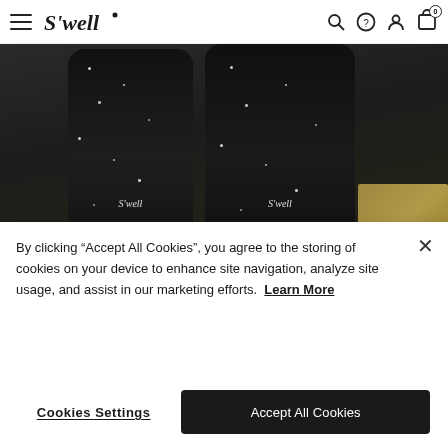S'well — navigation header with hamburger menu, logo, search, help, account, and cart icons
[Figure (photo): Two black speckled S'well bottles on a surface with lemon slices and a wooden board in the background]
Speckled Ceramics
By clicking "Accept All Cookies", you agree to the storing of cookies on your device to enhance site navigation, analyze site usage, and assist in our marketing efforts. Learn More
Cookies Settings
Accept All Cookies